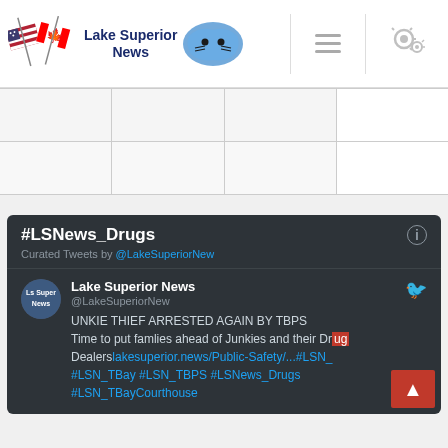Lake Superior News
|  |  |  |  |
|  |  |  |  |
[Figure (screenshot): Twitter/Storify widget showing #LSNews_Drugs curated tweets by @LakeSuperiorNew. Tweet from Lake Superior News @LakeSuperiorNew: UNKIE THIEF ARRESTED AGAIN BY TBPS Time to put famlies ahead of Junkies and their Drug Dealers lakesuperior.news/Public-Safety/...#LSN_TBay #LSN_TBPS #LSNews_Drugs #LSN_TBayCourthouse]